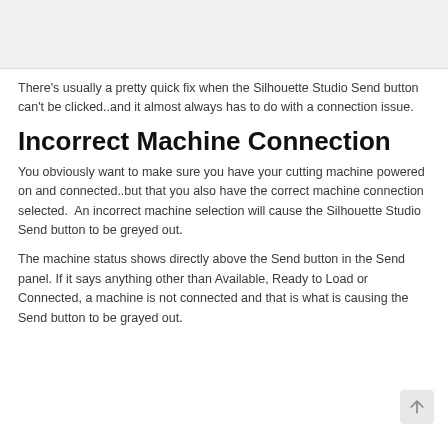[Figure (other): Light gray rectangular image placeholder at the top of the page]
There's usually a pretty quick fix when the Silhouette Studio Send button can't be clicked..and it almost always has to do with a connection issue.
Incorrect Machine Connection
You obviously want to make sure you have your cutting machine powered on and connected..but that you also have the correct machine connection selected.  An incorrect machine selection will cause the Silhouette Studio Send button to be greyed out.
The machine status shows directly above the Send button in the Send panel. If it says anything other than Available, Ready to Load or Connected, a machine is not connected and that is what is causing the Send button to be grayed out.